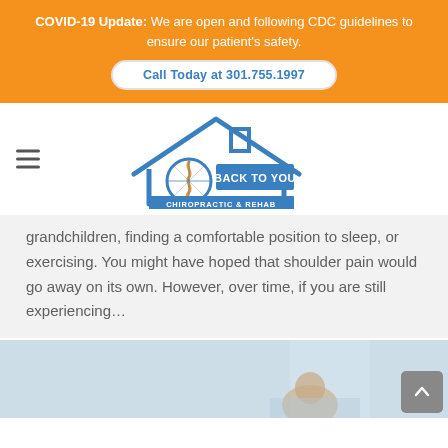COVID-19 Update: We are open and following CDC guidelines to ensure our patient's safety. Call Today at 301.755.1997
[Figure (logo): Back To You Chiropractic & Rehab logo with house outline and spine graphic in blue and orange]
grandchildren, finding a comfortable position to sleep, or exercising. You might have hoped that shoulder pain would go away on its own. However, over time, if you are still experiencing…
[Figure (photo): Photo of a person receiving chiropractic or rehab treatment, partially visible at bottom of page]